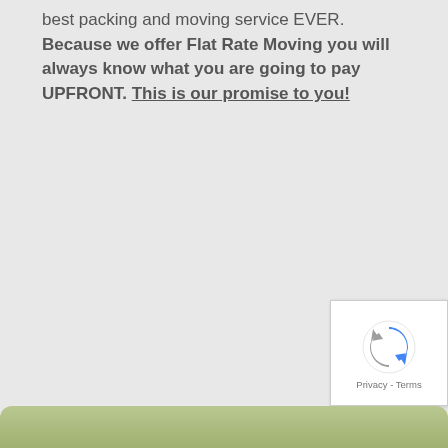best packing and moving service EVER. Because we offer Flat Rate Moving you will always know what you are going to pay UPFRONT. This is our promise to you!
[Figure (logo): reCAPTCHA widget with rotating arrows logo and Privacy - Terms text]
[Figure (photo): Partial photo visible at bottom of page, appears to show outdoor greenery scene]